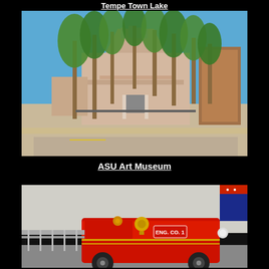Tempe Town Lake
[Figure (photo): Exterior of ASU Art Museum building with tall palm trees in front, pink/beige adobe-style architecture with decorative window cutouts, blue sky background, parking lot in foreground]
ASU Art Museum
[Figure (photo): Interior of fire museum or fire station exhibit showing a vintage red fire engine with brass bell, ladders, and firefighting equipment on display]